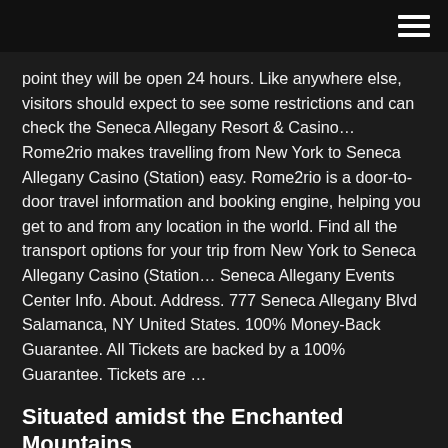point they will be open 24 hours. Like anywhere else, visitors should expect to see some restrictions and can check the Seneca Allegany Resort & Casino… Rome2rio makes travelling from New York to Seneca Allegany Casino (Station) easy. Rome2rio is a door-to-door travel information and booking engine, helping you get to and from any location in the world. Find all the transport options for your trip from New York to Seneca Allegany Casino (Station… Seneca Allegany Events Center Info. About. Address. 777 Seneca Allegany Blvd Salamanca, NY United States. 100% Money-Back Guarantee. All Tickets are backed by a 100% Guarantee. Tickets are …
Situated amidst the Enchanted Mountains